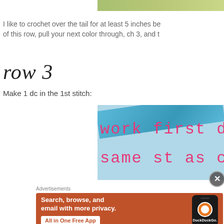[Figure (photo): Top portion of a crochet/craft image, showing green yarn or plant, cropped at top of page]
I like to crochet over the tail for at least 5 inches be of this row, pull your next color through, ch 3, and t
row 3
Make 1 dc in the 1st stitch:
[Figure (photo): Crochet image showing blue yarn with pink handwritten text overlay reading 'work first dc same st as ch']
Advertisements
[Figure (infographic): DuckDuckGo advertisement banner with orange background, text 'Search, browse, and email with more privacy. All in One Free App' and phone image with DuckDuckGo logo]